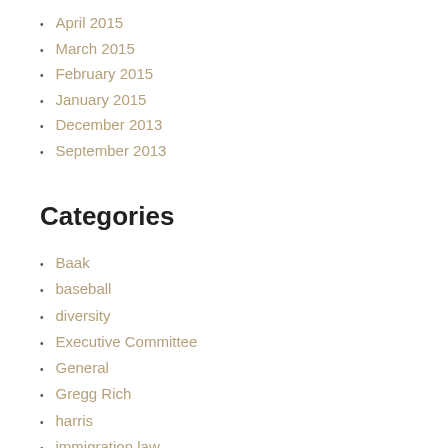April 2015
March 2015
February 2015
January 2015
December 2013
September 2013
Categories
Baak
baseball
diversity
Executive Committee
General
Gregg Rich
harris
immigration law
Members
Monthly Meetings